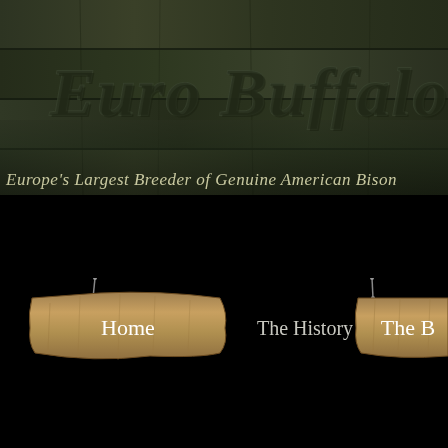[Figure (screenshot): Euro Buffalo website header with dark wood plank background texture and large watermark-style logo text 'Euro Buffalo' in gothic lettering]
Europe's Largest Breeder of Genuine American Bison
[Figure (illustration): Navigation bar with wooden hanging sign showing 'Home' on the left, plain text 'The History' in center, and partial wooden sign on right showing 'The B...']